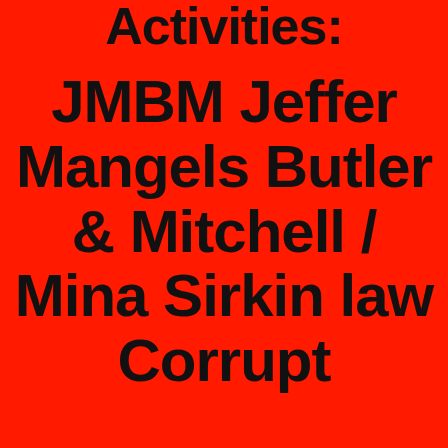Activities:
JMBM Jeffer Mangels Butler & Mitchell / Mina Sirkin law Corrupt